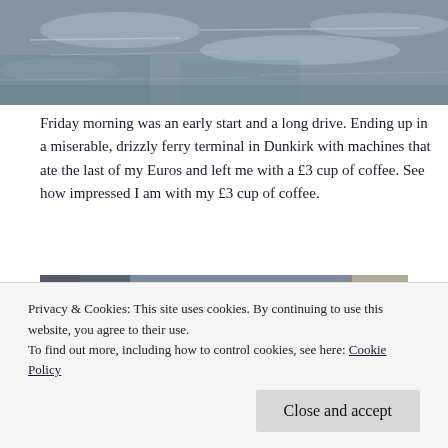[Figure (photo): Top portion of a photo showing water/river scene with rippled grey water surface]
Friday morning was an early start and a long drive. Ending up in a miserable, drizzly ferry terminal in Dunkirk with machines that ate the last of my Euros and left me with a £3 cup of coffee. See how impressed I am with my £3 cup of coffee.
[Figure (photo): Photo of a woman with dark reddish hair wearing a black and white patterned headband/bandana, looking down; a TV screen visible in the background]
Privacy & Cookies: This site uses cookies. By continuing to use this website, you agree to their use.
To find out more, including how to control cookies, see here: Cookie Policy